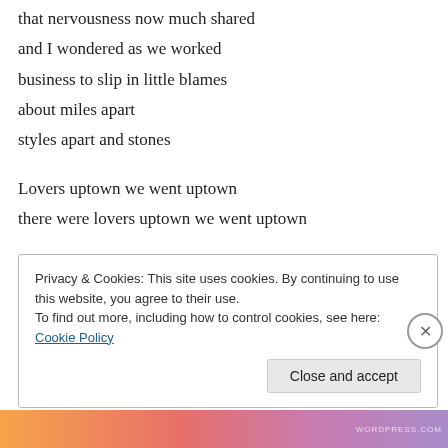that nervousness now much shared
and I wondered as we worked
business to slip in little blames
about miles apart
styles apart and stones
Lovers uptown we went uptown
there were lovers uptown we went uptown
So we were close
close on the one hand
Privacy & Cookies: This site uses cookies. By continuing to use this website, you agree to their use.
To find out more, including how to control cookies, see here: Cookie Policy